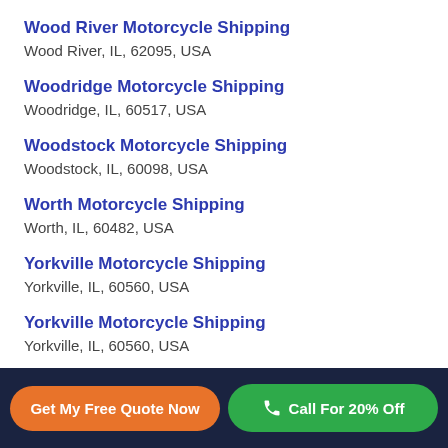Wood River Motorcycle Shipping
Wood River, IL, 62095, USA
Woodridge Motorcycle Shipping
Woodridge, IL, 60517, USA
Woodstock Motorcycle Shipping
Woodstock, IL, 60098, USA
Worth Motorcycle Shipping
Worth, IL, 60482, USA
Yorkville Motorcycle Shipping
Yorkville, IL, 60560, USA
Yorkville Motorcycle Shipping
Yorkville, IL, 60560, USA
Zion Motorcycle Shipping
Get My Free Quote Now
Call For 20% Off